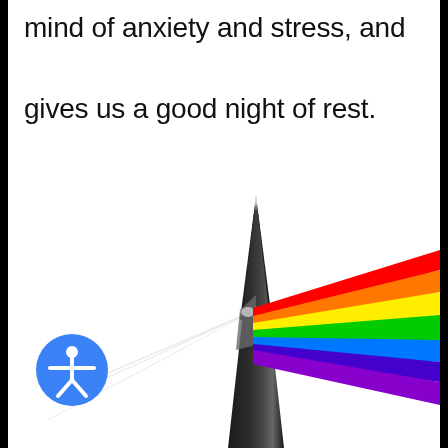mind of anxiety and stress, and gives us a good night of rest.
[Figure (illustration): A prism splitting white light into a rainbow spectrum. A tall dark triangular prism shape sits center-right. A narrow beam of white light enters from upper-center, hits the prism midway, and refracts into rainbow bands (red, orange, yellow, green, blue, indigo, violet) spreading to the right. A faint refracted beam also exits to the lower-left.]
[Figure (illustration): Blue circular accessibility icon with a white stick figure person with arms outstretched, bottom-left of page.]